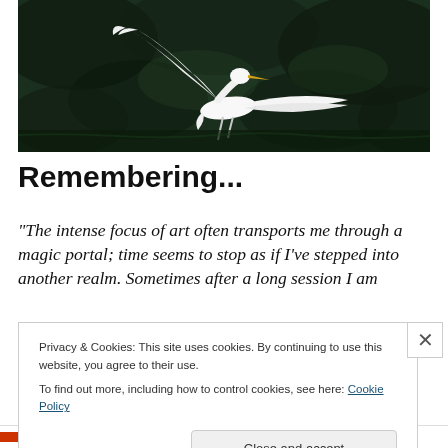[Figure (photo): A white egret/heron in flight with wings spread wide, photographed against a dark green background of trees or water vegetation. The bird is white with a yellow beak.]
Remembering...
“The intense focus of art often transports me through a magic portal; time seems to stop as if I’ve stepped into another realm. Sometimes after a long session I am
Privacy & Cookies: This site uses cookies. By continuing to use this website, you agree to their use.
To find out more, including how to control cookies, see here: Cookie Policy
Close and accept